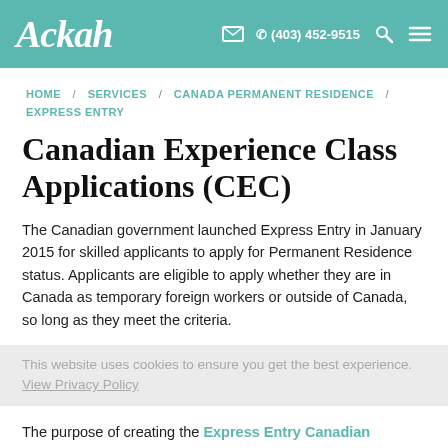Ackah | (403) 452-9515
HOME / SERVICES / CANADA PERMANENT RESIDENCE / EXPRESS ENTRY
Canadian Experience Class Applications (CEC)
The Canadian government launched Express Entry in January 2015 for skilled applicants to apply for Permanent Residence status. Applicants are eligible to apply whether they are in Canada as temporary foreign workers or outside of Canada, so long as they meet the criteria.
This website uses cookies to ensure you get the best experience. View Privacy Policy
The purpose of creating the Express Entry Canadian Experience Class (CEC) Permanent Residence category was to allow skilled workers to gain entry into Canada as